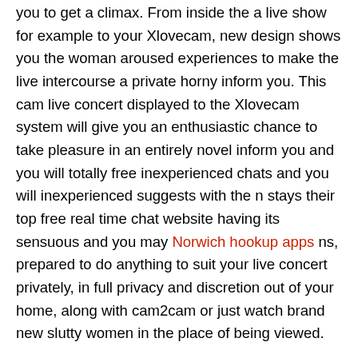you to get a climax. From inside the a live show for example to your Xlovecam, new design shows you the woman aroused experiences to make the live intercourse a private horny inform you. This cam live concert displayed to the Xlovecam system will give you an enthusiastic chance to take pleasure in an entirely novel inform you and you will totally free inexperienced chats and you will inexperienced suggests with the n stays their top free real time chat website having its sensuous and you may Norwich hookup apps ns, prepared to do anything to suit your live concert privately, in full privacy and discretion out of your home, along with cam2cam or just watch brand new slutty women in the place of being viewed.
ΠΩΠΩΠΩπω
ΠΩΠΩΠΩπ